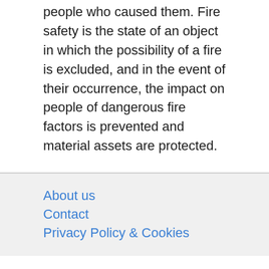people who caused them. Fire safety is the state of an object in which the possibility of a fire is excluded, and in the event of their occurrence, the impact on people of dangerous fire factors is prevented and material assets are protected.
About us
Contact
Privacy Policy & Cookies
ATTENTION TO RIGHT HOLDERS! All materials are posted on the site strictly for informational and educational purposes! If you believe that the posting of any material